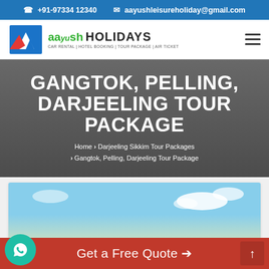+91-97334 12340   aayushleisureholiday@gmail.com
[Figure (logo): Aayush Holidays logo with mountain graphic icon, green and dark text reading 'aayush HOLIDAYS', subtext 'CAR RENTAL | HOTEL BOOKING | TOUR PACKAGE | AIR TICKET']
GANGTOK, PELLING, DARJEELING TOUR PACKAGE
Home > Darjeeling Sikkim Tour Packages > Gangtok, Pelling, Darjeeling Tour Package
[Figure (photo): Blue sky with white clouds, partial mountain landscape visible at bottom]
Get a Free Quote →